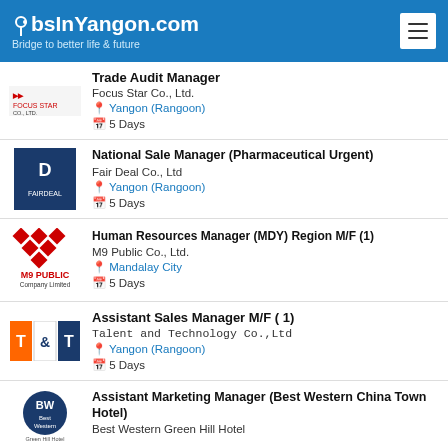JobsInYangon.com — Bridge to better life & future
Trade Audit Manager | Focus Star Co., Ltd. | Yangon (Rangoon) | 5 Days
National Sale Manager (Pharmaceutical Urgent) | Fair Deal Co., Ltd | Yangon (Rangoon) | 5 Days
Human Resources Manager (MDY) Region M/F (1) | M9 Public Co., Ltd. | Mandalay City | 5 Days
Assistant Sales Manager M/F (1) | Talent and Technology Co.,Ltd | Yangon (Rangoon) | 5 Days
Assistant Marketing Manager (Best Western China Town Hotel) | Best Western Green Hill Hotel